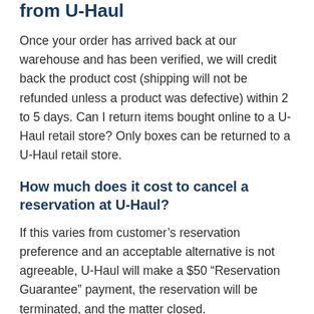from U-Haul
Once your order has arrived back at our warehouse and has been verified, we will credit back the product cost (shipping will not be refunded unless a product was defective) within 2 to 5 days. Can I return items bought online to a U-Haul retail store? Only boxes can be returned to a U-Haul retail store.
How much does it cost to cancel a reservation at U-Haul?
If this varies from customer's reservation preference and an acceptable alternative is not agreeable, U-Haul will make a $50 “Reservation Guarantee” payment, the reservation will be terminated, and the matter closed.